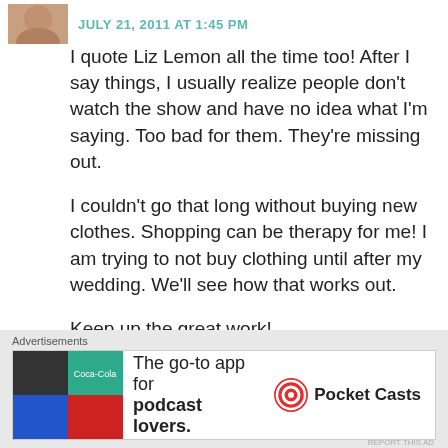JULY 21, 2011 AT 1:45 PM
I quote Liz Lemon all the time too! After I say things, I usually realize people don't watch the show and have no idea what I'm saying. Too bad for them. They're missing out.
I couldn't go that long without buying new clothes. Shopping can be therapy for me! I am trying to not buy clothing until after my wedding. We'll see how that works out.
Keep up the great work!
★ Like
[Figure (other): Close/dismiss button (circled X) in bottom right corner]
Advertisements
[Figure (other): Advertisement banner for Pocket Casts: The go-to app for podcast lovers.]